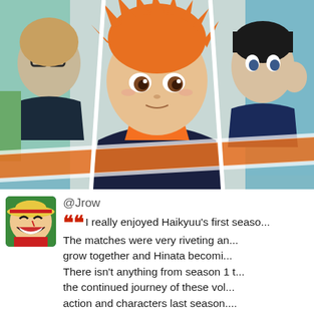[Figure (illustration): Anime collage image from Haikyuu!! showing multiple characters including a boy with orange spiky hair in the center foreground wearing a dark volleyball jersey, a character with glasses on the left, and a dark-haired character on the right with a surprised expression. Orange decorative diagonal stripe elements in the lower portion. Teal/green background panels.]
[Figure (photo): Twitter/social media avatar showing an anime character (Monkey D. Luffy from One Piece) with a straw hat, red vest, and wide grinning smile, set against a green background.]
@Jrow
I really enjoyed Haikyuu's first seaso... The matches were very riveting and... grow together and Hinata becomi... There isn't anything from season 1 t... the continued journey of these vol... action and characters last season.... fandom level, can be a good time... Basuke and others a chance as the...